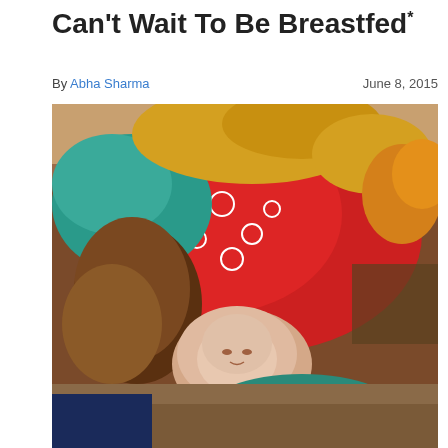Can't Wait To Be Breastfed
By Abha Sharma   June 8, 2015
[Figure (photo): A mother lying down with a newborn infant beside her. The mother is wearing a red floral garment and a colorful head covering. The baby appears to be a very young newborn. They are resting on patterned fabric/blankets.]